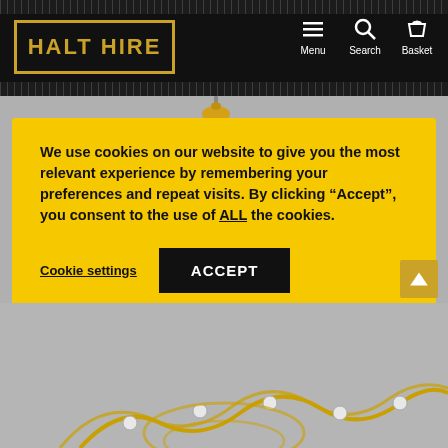[Figure (screenshot): Halt Hire website screenshot with cookie consent modal overlay. Header shows black bar with HALT HIRE logo in gold, ruler texture strips, and navigation icons (Menu, Search, Basket). Background shows gray area with yellow hanging work light. Cookie modal in yellow with text about cookie consent. Bottom shows product image (yellow string of lights).]
We use cookies on our website to give you the most relevant experience by remembering your preferences and repeat visits. By clicking “Accept”, you consent to the use of ALL the cookies.
Cookie settings
ACCEPT